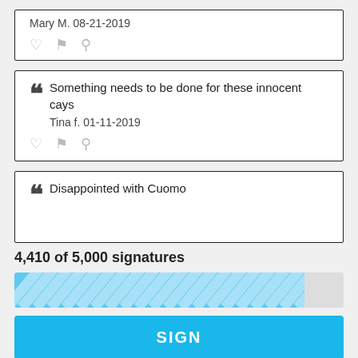Mary M. 08-21-2019
Something needs to be done for these innocent cays
Tina f. 01-11-2019
Disappointed with Cuomo
4,410 of 5,000 signatures
[Figure (other): Progress bar showing 4,410 of 5,000 signatures with diagonal blue stripes fill at approximately 88%]
SIGN